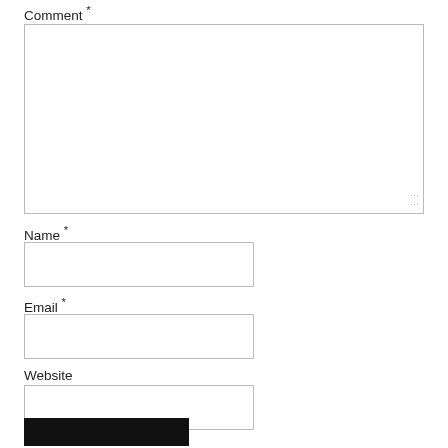Comment *
[Figure (screenshot): Large textarea input box for comment field]
Name *
[Figure (screenshot): Small text input box for Name field]
Email *
[Figure (screenshot): Small text input box for Email field]
Website
[Figure (screenshot): Small text input box for Website field]
[Figure (screenshot): Black submit button (Post Comment or similar)]